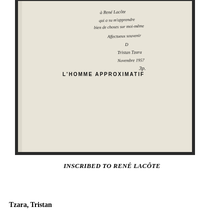[Figure (photo): Photograph of an open book page showing a handwritten inscription in French to René Lacôte, with the printed title 'L'HOMME APPROXIMATIF' visible, signed by Tristan Tzara, November 1957, with a price notation '3p.']
INSCRIBED TO RENÉ LACÔTE
Tzara, Tristan